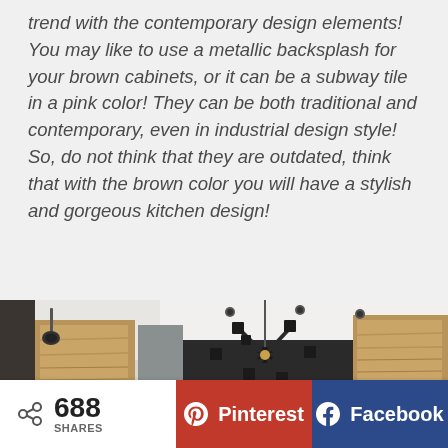trend with the contemporary design elements! You may like to use a metallic backsplash for your brown cabinets, or it can be a subway tile in a pink color! They can be both traditional and contemporary, even in industrial design style! So, do not think that they are outdated, think that with the brown color you will have a stylish and gorgeous kitchen design!
[Figure (photo): Interior photo of a modern kitchen/room with wooden cabinets, a black statement chandelier with multiple bulbs, track lighting on ceiling, white ceiling.]
688 SHARES
Pinterest
Facebook